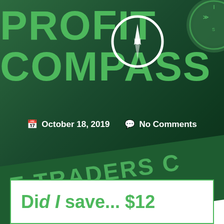PROFIT COMPASS
October 18, 2019   No Comments
[Figure (illustration): Compass icon (white circle with compass needle) and clock/gauge in upper right corner, on dark green background with text E TRADERS C... / POWERE...]
E TRADERS C...  POWERE...